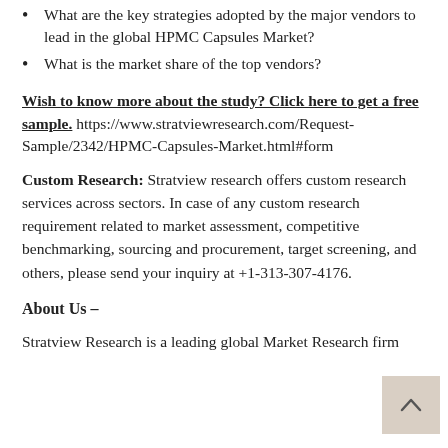What are the key strategies adopted by the major vendors to lead in the global HPMC Capsules Market?
What is the market share of the top vendors?
Wish to know more about the study? Click here to get a free sample. https://www.stratviewresearch.com/Request-Sample/2342/HPMC-Capsules-Market.html#form
Custom Research: Stratview research offers custom research services across sectors. In case of any custom research requirement related to market assessment, competitive benchmarking, sourcing and procurement, target screening, and others, please send your inquiry at +1-313-307-4176.
About Us –
Stratview Research is a leading global Market Research firm